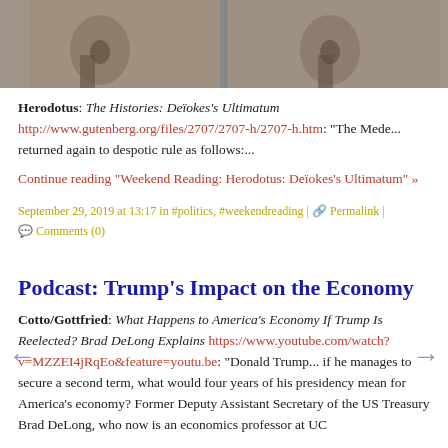[Figure (photo): Grayscale photo strip showing two side-by-side frames of what appears to be a stone carving or statue]
Herodotus: The Histories: Deïokes's Ultimatum http://www.gutenberg.org/files/2707/2707-h/2707-h.htm: "The Mede... returned again to despotic rule as follows:...
Continue reading "Weekend Reading: Herodotus: Deïokes's Ultimatum" »
September 29, 2019 at 13:17 in #politics, #weekendreading | Permalink | Comments (0)
Podcast: Trump's Impact on the Economy
Cotto/Gottfried: What Happens to America's Economy If Trump Is Reelected? Brad DeLong Explains https://www.youtube.com/watch?v=MZZEI4jRqEo&feature=youtu.be: "Donald Trump... if he manages to secure a second term, what would four years of his presidency mean for America's economy? Former Deputy Assistant Secretary of the US Treasury Brad DeLong, who now is an economics professor at UC